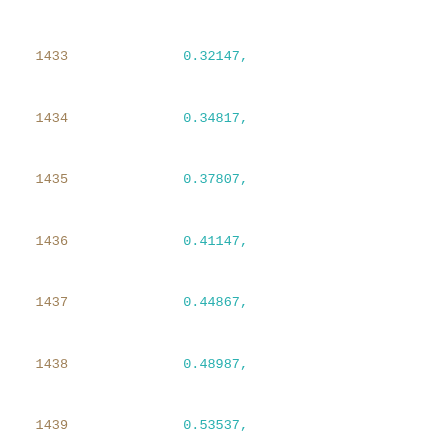1433    0.32147,
1434    0.34817,
1435    0.37807,
1436    0.41147,
1437    0.44867,
1438    0.48987,
1439    0.53537,
1440    0.58547,
1441    0.64057,
1442    0.70137,
1443    0.76827,
1444    0.84207,
1445    0.92717,
1446    1.02977,
1447    1.15297,
1448    1.30107
1449    ],
1450    [
1451        0.161,
1452        0.2889,
1453        0.3068,